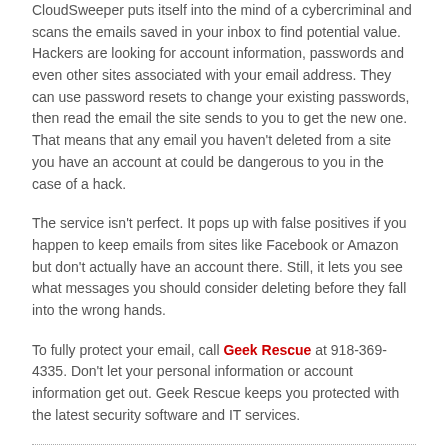CloudSweeper puts itself into the mind of a cybercriminal and scans the emails saved in your inbox to find potential value. Hackers are looking for account information, passwords and even other sites associated with your email address. They can use password resets to change your existing passwords, then read the email the site sends to you to get the new one. That means that any email you haven't deleted from a site you have an account at could be dangerous to you in the case of a hack.
The service isn't perfect. It pops up with false positives if you happen to keep emails from sites like Facebook or Amazon but don't actually have an account there. Still, it lets you see what messages you should consider deleting before they fall into the wrong hands.
To fully protect your email, call Geek Rescue at 918-369-4335. Don't let your personal information or account information get out. Geek Rescue keeps you protected with the latest security software and IT services.
1 … 3 4 5